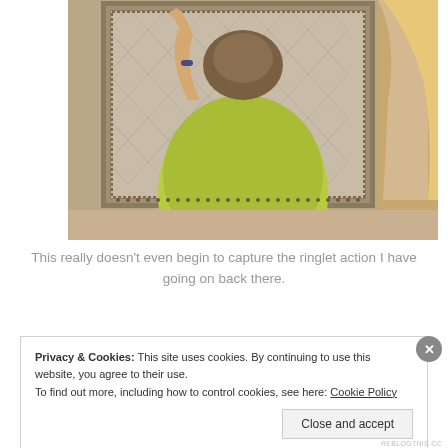[Figure (photo): A person with a braided updo hairstyle wearing a bright green/yellow shirt, viewed from behind in a bathroom mirror. Another person with blonde hair is partially visible on the right edge.]
This really doesn't even begin to capture the ringlet action I have going on back there.
Privacy & Cookies: This site uses cookies. By continuing to use this website, you agree to their use.
To find out more, including how to control cookies, see here: Cookie Policy
Close and accept